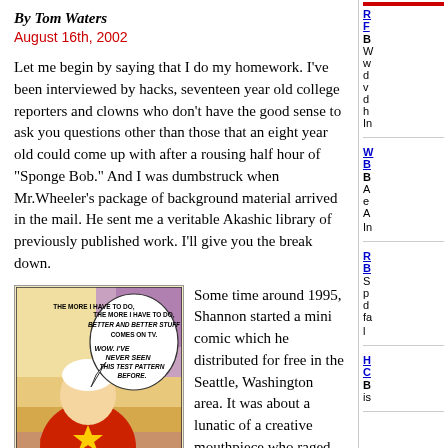By Tom Waters
August 16th, 2002
Let me begin by saying that I do my homework. I've been interviewed by hacks, seventeen year old college reporters and clowns who don't have the good sense to ask you questions other than those that an eight year old could come up with after a rousing half hour of "Sponge Bob." And I was dumbstruck when Mr.Wheeler's package of background material arrived in the mail. He sent me a veritable Akashic library of previously published work. I'll give you the break down.
[Figure (illustration): Comic panel showing a character in red saying 'THE MORE I HAVE TO DO, BETTER AND BETTER STUFF COMES ON TV.' with 'WOW. I'VE NEVER SEEN THIS TEST PATTERN BEFORE.']
Some time around 1995, Shannon started a mini comic which he distributed for free in the Seattle, Washington area. It was about a lunatic of a creative mouthpiece who raged against everything unjust and paradoxical about the world with a humorous slant the likes of which I haven't seen since my all time favorite indie "Reid